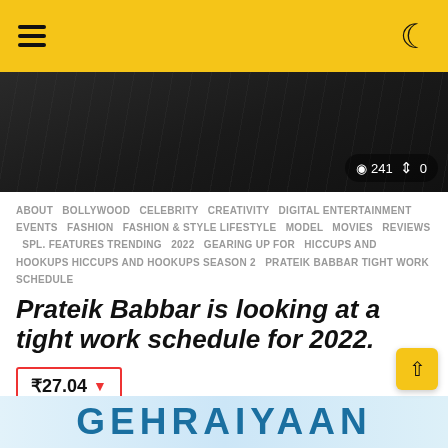Navigation header with hamburger menu and moon icon
[Figure (photo): Dark/black jacket photo with view count 241 and share count 0 overlay]
ABOUT  BOLLYWOOD  CELEBRITY  CREATIVITY  DIGITAL  ENTERTAINMENT  EVENTS  FASHION  FASHION & STYLE  LIFESTYLE  MODEL  MOVIES  REVIEWS  SPL. FEATURES  TRENDING  2022  GEARING UP FOR  HICCUPS AND HOOKUPS  HICCUPS AND HOOKUPS SEASON 2  PRATEIK BABBAR  TIGHT WORK SCHEDULE
Prateik Babbar is looking at a tight work schedule for 2022.
₹27.04 ▼
by TIKSHA SAKAT
[Figure (photo): GEHRAIYAAN banner advertisement at bottom]